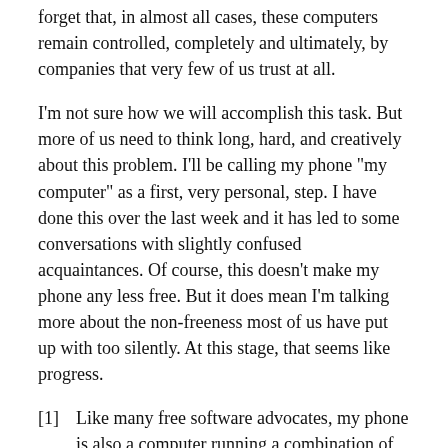forget that, in almost all cases, these computers remain controlled, completely and ultimately, by companies that very few of us trust at all.
I'm not sure how we will accomplish this task. But more of us need to think long, hard, and creatively about this problem. I'll be calling my phone "my computer" as a first, very personal, step. I have done this over the last week and it has led to some conversations with slightly confused acquaintances. Of course, this doesn't make my phone any less free. But it does mean I'm talking more about the non-freeness most of us have put up with too silently. At this stage, that seems like progress.
[1]  Like many free software advocates, my phone is also a computer running a combination of free and non-free software. I use it unhappily and am doing what I can to change this.